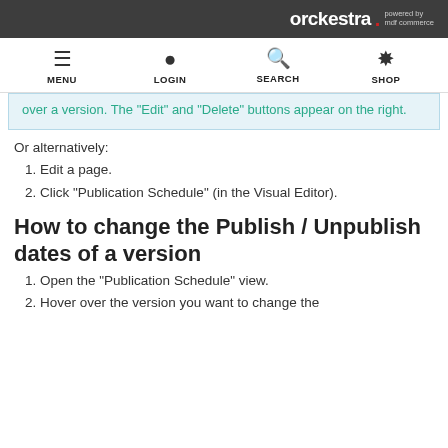orckestra · powered by mdf commerce
[Figure (infographic): Navigation bar with four icons: MENU (hamburger), LOGIN (person), SEARCH (magnifying glass), SHOP (cart/checkmark)]
over a version. The "Edit" and "Delete" buttons appear on the right.
Or alternatively:
Edit a page.
Click "Publication Schedule" (in the Visual Editor).
How to change the Publish / Unpublish dates of a version
Open the "Publication Schedule" view.
Hover over the version you want to change the